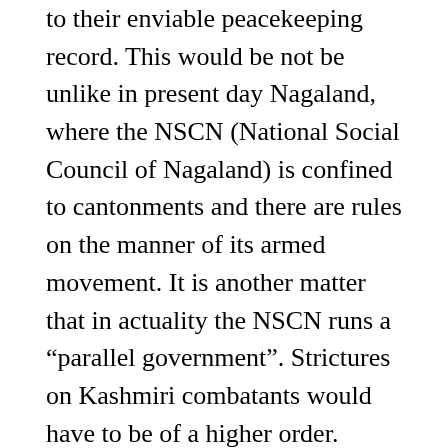to their enviable peacekeeping record. This would be not be unlike in present day Nagaland, where the NSCN (National Social Council of Nagaland) is confined to cantonments and there are rules on the manner of its armed movement. It is another matter that in actuality the NSCN runs a “parallel government”. Strictures on Kashmiri combatants would have to be of a higher order. Lessons learnt from the Nagaland model not in the public domain should further steady the framework outlined here.
That there is no scope now for a military retrieval of Nagaland should the process breakdown has been the main incentive for a political approach. An equal commitment to a political resolution